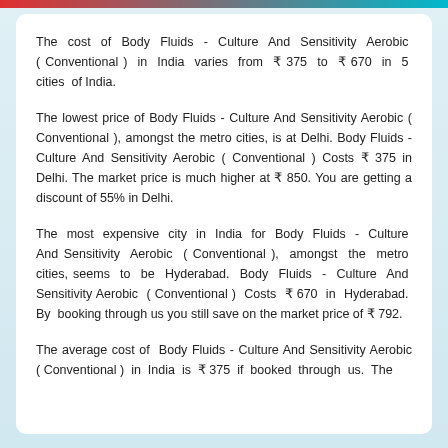The cost of Body Fluids - Culture And Sensitivity Aerobic ( Conventional ) in India varies from ₹ 375 to ₹ 670 in 5 cities of India.
The lowest price of Body Fluids - Culture And Sensitivity Aerobic ( Conventional ), amongst the metro cities, is at Delhi. Body Fluids - Culture And Sensitivity Aerobic ( Conventional ) Costs ₹ 375 in Delhi. The market price is much higher at ₹ 850. You are getting a discount of 55% in Delhi.
The most expensive city in India for Body Fluids - Culture And Sensitivity Aerobic ( Conventional ), amongst the metro cities, seems to be Hyderabad. Body Fluids - Culture And Sensitivity Aerobic ( Conventional ) Costs ₹ 670 in Hyderabad. By booking through us you still save on the market price of ₹ 792.
The average cost of Body Fluids - Culture And Sensitivity Aerobic ( Conventional ) in India is ₹ 375 if booked through us. The